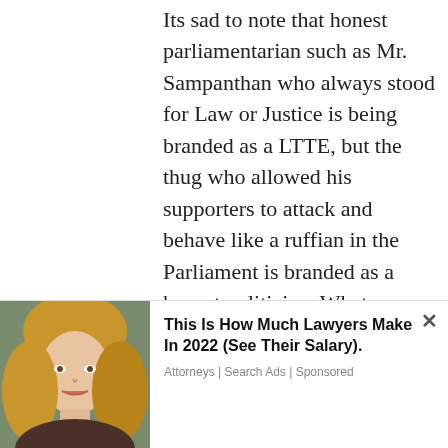Its sad to note that honest parliamentarian such as Mr. Sampanthan who always stood for Law or Justice is being branded as a LTTE, but the thug who allowed his supporters to attack and behave like a ruffian in the Parliament is branded as a honest politician. Whats wrong with the media? Whats wrong with the people of Sri Lanka?
[Figure (illustration): Purple and white geometric avatar/identicon pattern]
wannihami / December 19, 2018
Search for
[Figure (photo): Advertisement banner: photo of a blonde woman on the left, with ad text 'This Is How Much Lawyers Make In 2022 (See Their Salary). Attorneys | Search Ads | Sponsored' on the right]